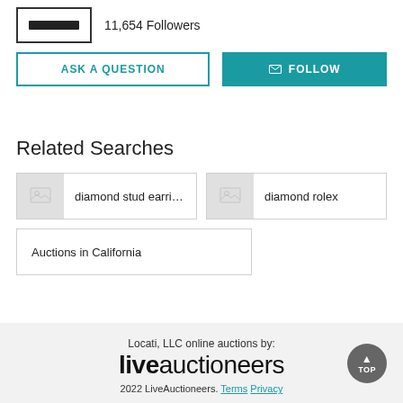11,654 Followers
ASK A QUESTION
FOLLOW
Related Searches
diamond stud earrings
diamond rolex
Auctions in California
Locati, LLC online auctions by: liveauctioneers 2022 LiveAuctioneers. Terms Privacy